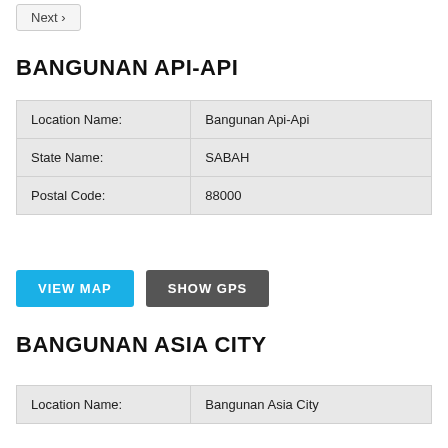Next >
BANGUNAN API-API
| Location Name: | Bangunan Api-Api |
| State Name: | SABAH |
| Postal Code: | 88000 |
VIEW MAP   SHOW GPS
BANGUNAN ASIA CITY
| Location Name: | Bangunan Asia City |